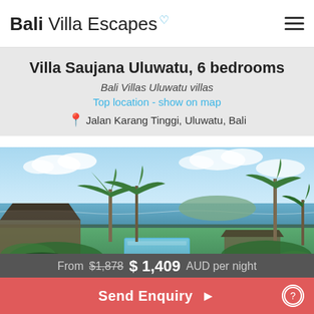Bali Villa Escapes
Villa Saujana Uluwatu, 6 bedrooms
Bali Villas Uluwatu villas
Top location - show on map
Jalan Karang Tinggi, Uluwatu, Bali
[Figure (photo): Exterior view of Villa Saujana Uluwatu showing lush tropical garden, swimming pool, palm trees, and ocean view in the background with a partly cloudy sky]
From $1,878  $ 1,409 AUD per night
Send Enquiry